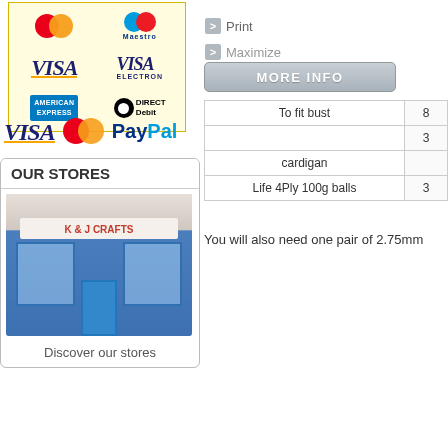[Figure (other): Payment logos panel showing MasterCard, Maestro, Visa, Visa Electron, American Express, Direct Debit logos in a yellow-bordered box]
[Figure (other): Bottom payment logos row showing Visa, MasterCard, and PayPal logos]
OUR STORES
[Figure (photo): Photo of K & J Crafts store front with blue painted shopfront and windows]
Discover our stores
Print
Maximize
MORE INFO
| To fit bust | 8 |
|  | 3 |
| cardigan |  |
| Life 4Ply 100g balls | 3 |
You will also need one pair of 2.75mm